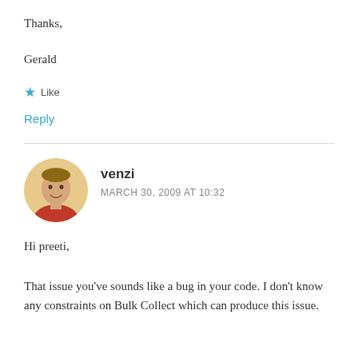Thanks,
Gerald
★ Like
Reply
venzi
MARCH 30, 2009 AT 10:32
Hi preeti,
That issue you've sounds like a bug in your code. I don't know any constraints on Bulk Collect which can produce this issue.